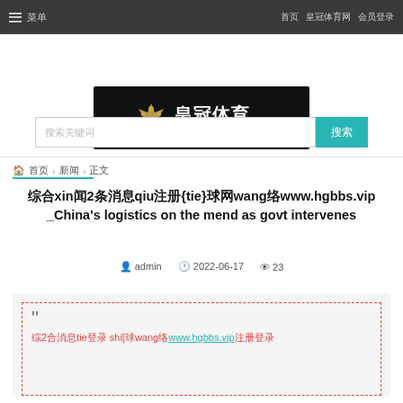☰ 菜单   首页   皇冠体育网   会员登录
[Figure (logo): 皇冠体育 Crown Sports Online logo with crown icon on dark background]
搜索关键词
首页 > 新闻 > 正文
综合xin闻2条消息qiu注册{tie}球网wang络www.hgbbs.vip_China's logistics on the mend as govt intervenes
admin 2022-06-17 23
综2合消息tie登录 shi[球wang络www.hgbbs.vip注册登录